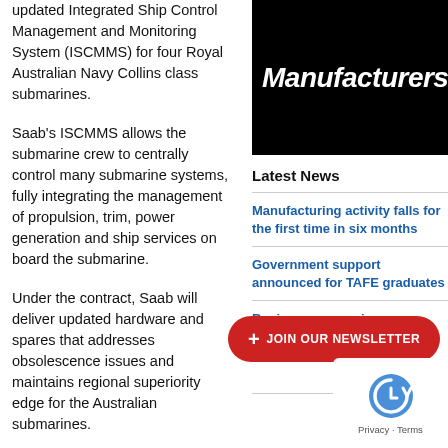updated Integrated Ship Control Management and Monitoring System (ISCMMS) for four Royal Australian Navy Collins class submarines.
Saab's ISCMMS allows the submarine crew to centrally control many submarine systems, fully integrating the management of propulsion, trim, power generation and ship services on board the submarine.
Under the contract, Saab will deliver updated hardware and spares that addresses obsolescence issues and maintains regional superiority edge for the Australian submarines.
“We look forward to working
[Figure (logo): Manufacturers' Monthly magazine logo — white text on black background]
Latest News
Manufacturing activity falls for the first time in six months
Government support announced for TAFE graduates
Business groups issue collective statement of a…